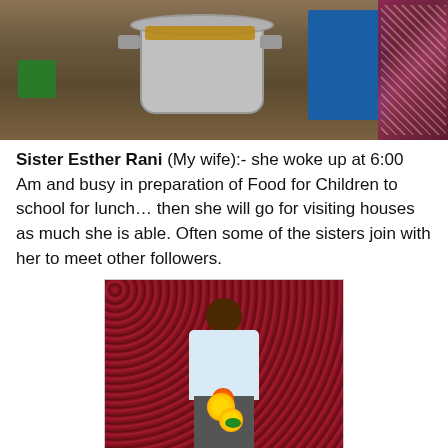[Figure (photo): A photo showing a large cooking pot on a surface, a green stool on the left, a blue table/chair in the background, and a person wearing a decorative saree on the right side.]
Sister Esther Rani (My wife):- she woke up at 6:00 Am and busy in preparation of Food for Children to school for lunch… then she will go for visiting houses as much she is able. Often some of the sisters join with her to meet other followers.
[Figure (photo): A young man wearing a white shirt standing in front of a dark red/maroon sparkly curtain backdrop, holding yellow and orange flower garlands.]